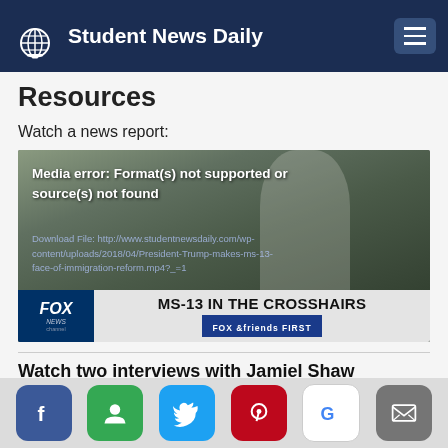Student News Daily
Resources
Watch a news report:
[Figure (screenshot): Video player showing a Fox News segment titled 'MS-13 IN THE CROSSHAIRS' on Fox & Friends First. The video displays a media error: Format(s) not supported or source(s) not found, with a download file link to studentnewsdaily.com.]
Watch two interviews with Jamiel Shaw